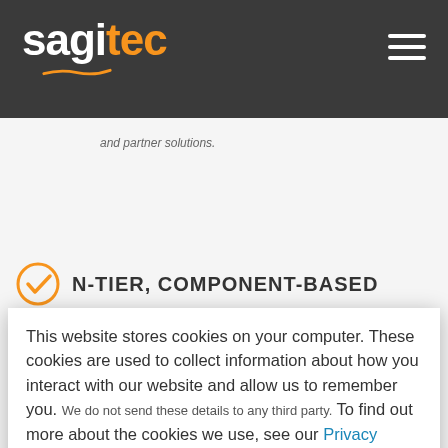[Figure (logo): Sagitec logo in white and orange text with orange swoosh underline, on dark gray header bar]
and partner solutions.
N-TIER, COMPONENT-BASED
This website stores cookies on your computer. These cookies are used to collect information about how you interact with our website and allow us to remember you. We do not send these details to any third party. To find out more about the cookies we use, see our Privacy Policy.

If you decline, your information won't be tracked when you visit this website. A single cookie will be used in your browser to remember your preference not to be tracked.
Accept All
Decline All